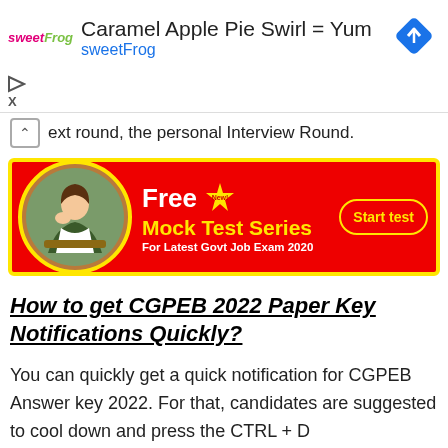[Figure (infographic): SweetFrog advertisement banner: logo, text 'Caramel Apple Pie Swirl = Yum', 'sweetFrog', and a navigation/map icon]
ext round, the personal Interview Round.
[Figure (infographic): Red and yellow banner ad: Free Mock Test Series for Latest Govt Job Exam 2020, with student photo, 'New!' badge, and 'Start test' button]
How to get CGPEB 2022 Paper Key Notifications Quickly?
You can quickly get a quick notification for CGPEB Answer key 2022. For that, candidates are suggested to cool down and press the CTRL + D button on their device to bookmark this page.